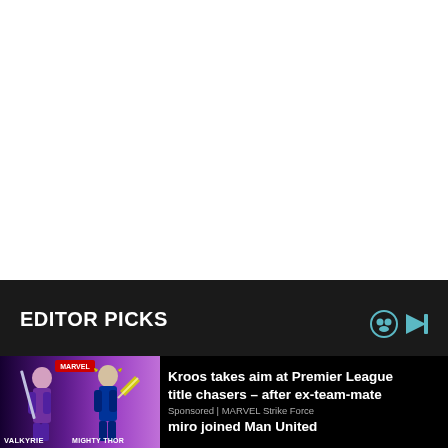EDITOR PICKS
[Figure (screenshot): Thumbnail image showing Marvel characters Valkyrie and Mighty Thor from Marvel Strike Force game promotional art, with purple/blue gradient background]
Kroos takes aim at Premier League title chasers – after ex-team-mate miro joined Man United
Sponsored | MARVEL Strike Force